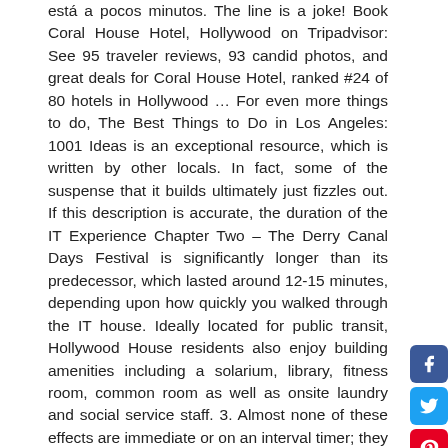está a pocos minutos. The line is a joke! Book Coral House Hotel, Hollywood on Tripadvisor: See 95 traveler reviews, 93 candid photos, and great deals for Coral House Hotel, ranked #24 of 80 hotels in Hollywood … For even more things to do, The Best Things to Do in Los Angeles: 1001 Ideas is an exceptional resource, which is written by other locals. In fact, some of the suspense that it builds ultimately just fizzles out. If this description is accurate, the duration of the IT Experience Chapter Two – The Derry Canal Days Festival is significantly longer than its predecessor, which lasted around 12-15 minutes, depending upon how quickly you walked through the IT house. Ideally located for public transit, Hollywood House residents also enjoy building amenities including a solarium, library, fitness room, common room as well as onsite laundry and social service staff. 3. Almost none of these effects are immediate or on an interval timer; they require Georgie to trigger, and then the show unfolds while guests are in a particular room, actively engaging with a particular scene. According to the Los Angeles Times, THE CULT guitarist Billy Duffy has listed his house in Hollywood Hills, California for $3.8 million. The material on this site may not be reproduced, distributed, transmitted, cached or otherwise used, except with the prior written permission of Condé Nast. House on the Hollywood . I would love to see some pictures. Georgie interacts with effects that come to life in each room. Todas las habitaciones cuentan con cocina y balcón o patio. Expect long lines for standby (as you can read below via our experience last time);